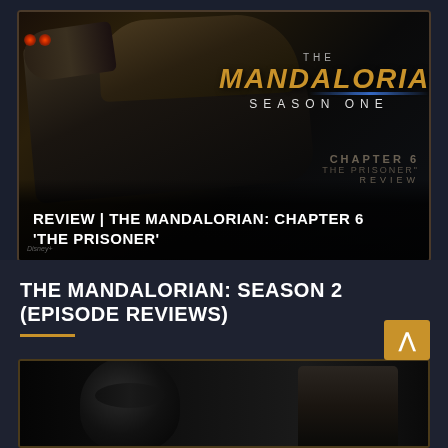[Figure (screenshot): Video thumbnail for The Mandalorian Season 1 review, showing a spaceship and the title text 'THE MANDALORIAN SEASON ONE' with overlay text 'REVIEW | THE MANDALORIAN: CHAPTER 6 THE PRISONER' and 'CHAPTER 6 THE PRISONER REVIEW']
THE MANDALORIAN: SEASON 2 (EPISODE REVIEWS)
[Figure (screenshot): Video thumbnail for The Mandalorian Season 2 episode reviews, showing the Mandalorian helmet and a person on the right side]